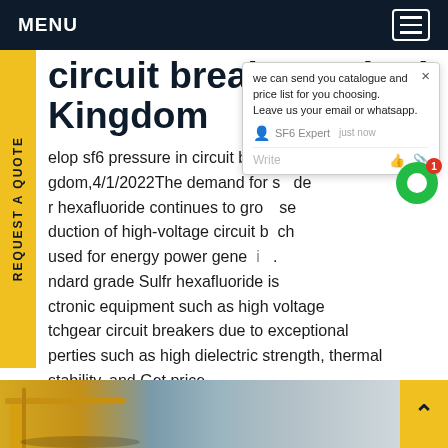MENU
circuit breaker United Kingdom
elop sf6 pressure in circuit breaker United Kingdom,4/1/2022The demand for sulfr hexafluoride continues to grow. se duction of high-voltage circuit b ch used for energy power gene i. ndard grade Sulfr hexafluoride is ctronic equipment such as high voltage tchgear circuit breakers due to exceptional perties such as high dielectric strength, thermal stability, and Get price
[Figure (screenshot): Chat popup overlay: we can send you catalogue and price list for you choosing. Leave us your email or whatsapp. SF6 Expert just now. Write input bar with emoji and attachment icons.]
[Figure (photo): Bottom strip showing construction crane and electrical equipment in outdoor industrial setting.]